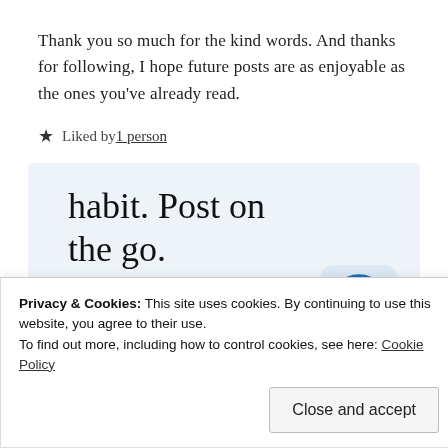Thank you so much for the kind words. And thanks for following, I hope future posts are as enjoyable as the ones you've already read.
★ Liked by 1 person
[Figure (infographic): WordPress promotional banner on light blue background: 'habit. Post on the go.' with 'GET THE APP' link and WordPress logo icon]
Privacy & Cookies: This site uses cookies. By continuing to use this website, you agree to their use. To find out more, including how to control cookies, see here: Cookie Policy
Close and accept